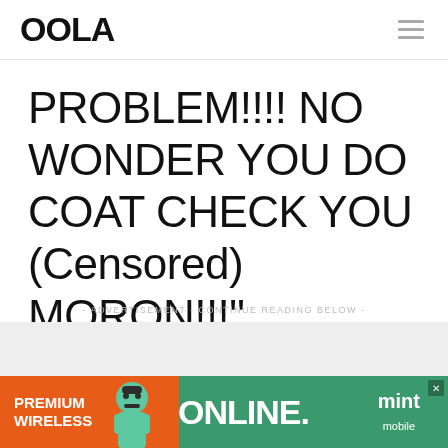OOLA
PROBLEM!!!! NO WONDER YOU DO COAT CHECK YOU (Censored) MORON!!!"
- ADVERTISEMENT - CONTINUE READING BELOW -
[Figure (infographic): Advertisement banner for Mint Mobile showing 'PREMIUM WIRELESS ONLINE.' text with cartoon mascot character on orange and green background]